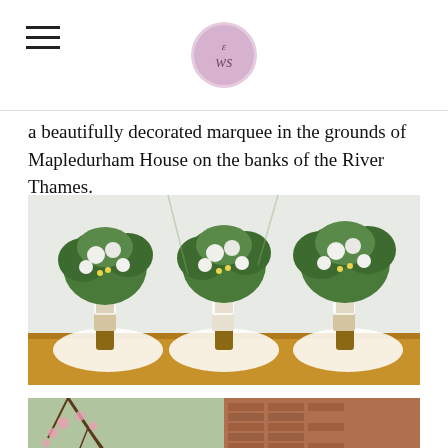a beautifully decorated marquee in the grounds of Mapledurham House on the banks of the River Thames.
[Figure (photo): Three bridal bouquets with white flowers, greenery, and hessian ribbon wrapping, placed on a wooden surface in front of a light background.]
[Figure (photo): Partial view of an outdoor scene, possibly showing tree branches and a brick building.]